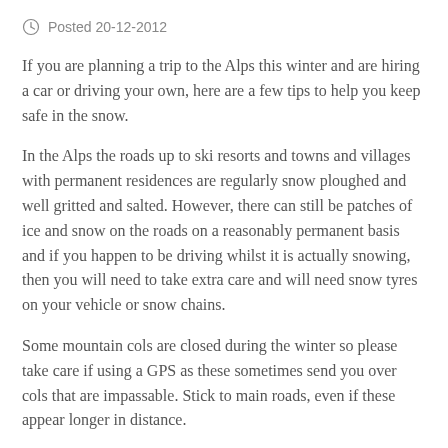Posted 20-12-2012
If you are planning a trip to the Alps this winter and are hiring a car or driving your own, here are a few tips to help you keep safe in the snow.
In the Alps the roads up to ski resorts and towns and villages with permanent residences are regularly snow ploughed and well gritted and salted. However, there can still be patches of ice and snow on the roads on a reasonably permanent basis and if you happen to be driving whilst it is actually snowing, then you will need to take extra care and will need snow tyres on your vehicle or snow chains.
Some mountain cols are closed during the winter so please take care if using a GPS as these sometimes send you over cols that are impassable. Stick to main roads, even if these appear longer in distance.